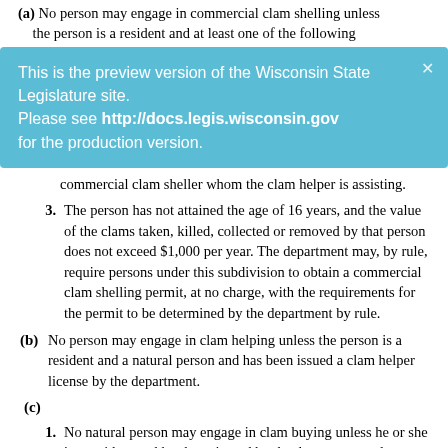(a) No person may engage in commercial clam shelling unless the person is a resident and at least one of the following
This is the preview version of the Wisconsin State Legislature site. Please see http://docs.legis.wisconsin.gov for the production version.
commercial clam sheller whom the clam helper is assisting.
3. The person has not attained the age of 16 years, and the value of the clams taken, killed, collected or removed by that person does not exceed $1,000 per year. The department may, by rule, require persons under this subdivision to obtain a commercial clam shelling permit, at no charge, with the requirements for the permit to be determined by the department by rule.
(b) No person may engage in clam helping unless the person is a resident and a natural person and has been issued a clam helper license by the department.
(c)
1. No natural person may engage in clam buying unless he or she is a resident and has been issued by the department a clam buyer license or an assistant clam buyer license.
2. No corporation, partnership or other business association may engage in clam buying unless it has been organi…